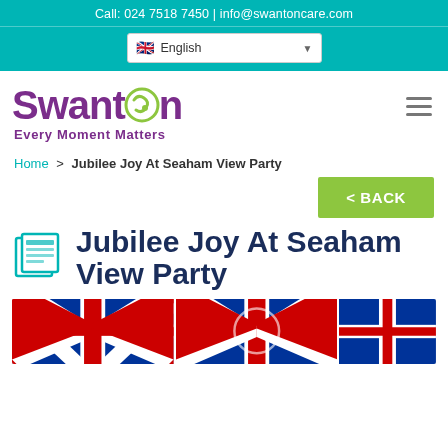Call: 024 7518 7450 | info@swantoncare.com
[Figure (screenshot): Language selector dropdown showing UK flag and 'English' text]
[Figure (logo): Swanton 'Every Moment Matters' logo in purple with teal swirl]
Home > Jubilee Joy At Seaham View Party
< BACK
Jubilee Joy At Seaham View Party
[Figure (photo): Photo strip showing Union Jack flags decoration, partially visible at bottom of page]